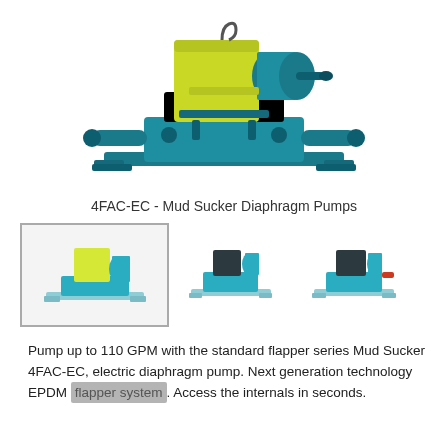[Figure (photo): 3D render of a 4FAC-EC Mud Sucker Diaphragm Pump — teal/blue metal frame base with yellow-green motor housing block on top, shown in isometric perspective]
4FAC-EC - Mud Sucker Diaphragm Pumps
[Figure (photo): Thumbnail 1: front-angled view of the 4FAC-EC pump with yellow motor block (selected/highlighted)]
[Figure (photo): Thumbnail 2: side view of the pump with dark teal body]
[Figure (photo): Thumbnail 3: another angle of the pump, teal body with red accents]
Pump up to 110 GPM with the standard flapper series Mud Sucker 4FAC-EC, electric diaphragm pump. Next generation technology EPDM flapper system. Access the internals in seconds.